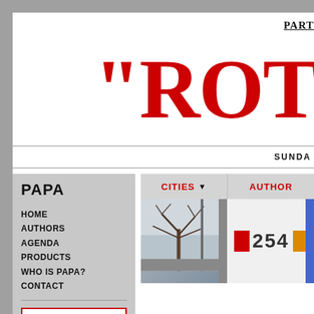PART
“ROT
SUNDA
PAPA
HOME
AUTHORS
AGENDA
PRODUCTS
WHO IS PAPA?
CONTACT
CITIES ▼
AUTHOR
[Figure (photo): Street scene with tree and bus numbered 254]
text & images ∨
mixed ∨
Z to A ∨
by title ∨